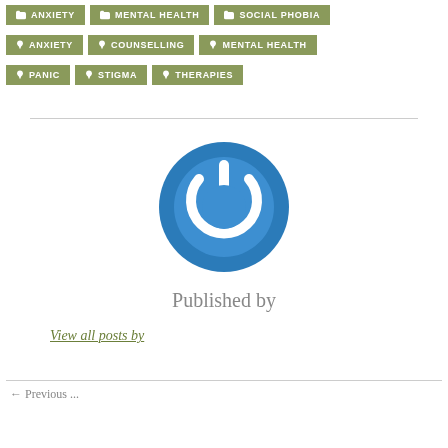ANXIETY | MENTAL HEALTH | SOCIAL PHOBIA
ANXIETY | COUNSELLING | MENTAL HEALTH
PANIC | STIGMA | THERAPIES
[Figure (logo): Blue circular power button icon]
Published by
View all posts by
← Previous ...